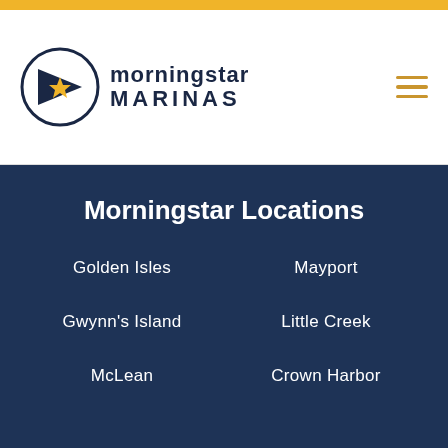[Figure (logo): Morningstar Marinas logo with pennant flag icon featuring a gold star]
Morningstar Locations
Golden Isles
Mayport
Gwynn's Island
Little Creek
McLean
Crown Harbor